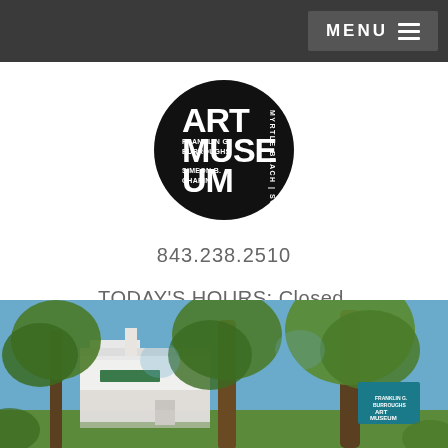MENU
[Figure (logo): ART MUSEUM Myrtle Beach SC Franklin G Burroughs Simeon B Chapin circular black logo]
843.238.2510
TODAY'S HOURS: Closed.
[Figure (photo): Exterior photo of the Franklin G. Burroughs–Simeon B. Chapin Art Museum building with large oak trees in the foreground and a teal Art Museum sign visible on the right.]